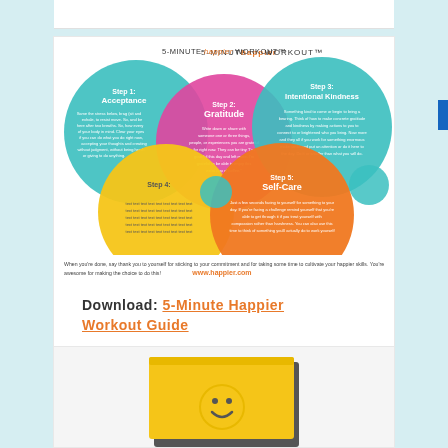[Figure (infographic): 5-Minute Happier Workout infographic showing 5 steps as overlapping colorful circles: Step 1 Acceptance (teal), Step 2 Gratitude (magenta/pink), Step 3 Intentional Kindness (teal), Step 4 (yellow/gold), Step 5 Self-Care (orange), with small teal circles as accents. Bottom text: www.happier.com]
When you're done, say thank you to yourself for sticking to your commitment and for taking some time to cultivate your happier skills. You're awesome for making the choice to do this!  www.happier.com
Download: 5-Minute Happier Workout Guide
[Figure (photo): Yellow book with a smiling face on the cover, partially visible at the bottom of the page]